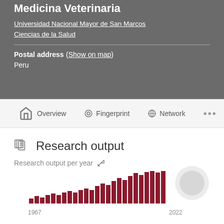Medicina Veterinaria
Universidad Nacional Mayor de San Marcos
Ciencias de la Salud
Postal address (Show on map)
Peru
Overview  Fingerprint  Network  ...
Research output
[Figure (bar-chart): Research output per year]